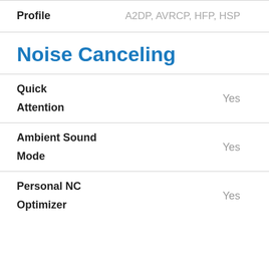| Feature | Value |
| --- | --- |
| Profile | A2DP, AVRCP, HFP, HSP |
| Noise Canceling |  |
| Quick Attention | Yes |
| Ambient Sound Mode | Yes |
| Personal NC Optimizer | Yes |